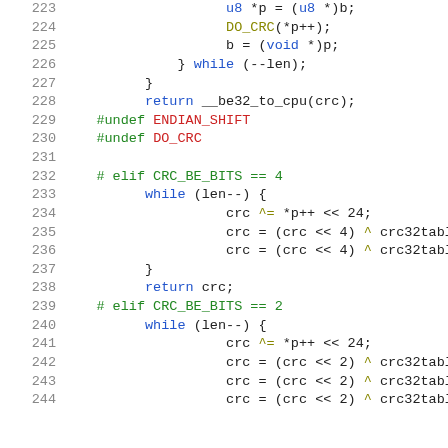[Figure (screenshot): Source code listing lines 223-244 of a C file showing CRC computation functions with syntax highlighting. Line numbers in gray on left, preprocessor directives in green/red, keywords like return/while in blue, variable names in dark, operators in olive/dark.]